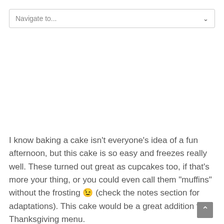[Figure (screenshot): Navigation dropdown bar with text 'Navigate to...' and a chevron arrow on the right]
I know baking a cake isn't everyone's idea of a fun afternoon, but this cake is so easy and freezes really well. These turned out great as cupcakes too, if that's more your thing, or you could even call them "muffins" without the frosting 😉 (check the notes section for adaptations). This cake would be a great addition to a Thanksgiving menu.